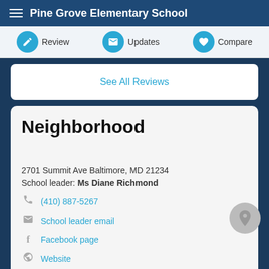Pine Grove Elementary School
Review  Updates  Compare
See All Reviews
Neighborhood
2701 Summit Ave Baltimore, MD 21234
School leader: Ms Diane Richmond
(410) 887-5267
School leader email
Facebook page
Website